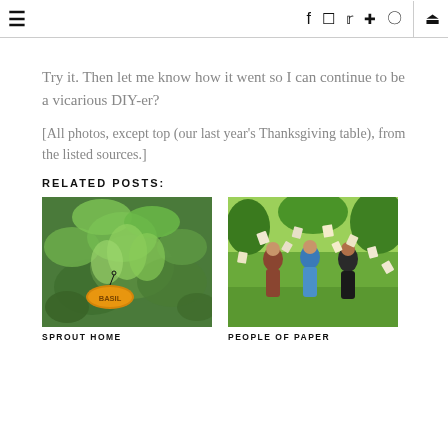≡   f  [instagram]  [twitter]  [pinterest]  [rss]  |  [search]
Try it. Then let me know how it went so I can continue to be a vicarious DIY-er?
[All photos, except top (our last year's Thanksgiving table), from the listed sources.]
RELATED POSTS:
[Figure (photo): Close-up photo of fresh green basil plants with a yellow Basil label tag]
SPROUT HOME
[Figure (photo): Photo of three people walking in a garden tossing paper in the air]
PEOPLE OF PAPER